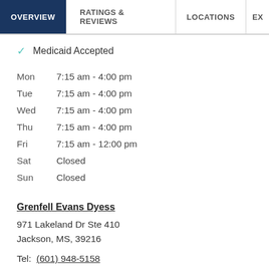OVERVIEW | RATINGS & REVIEWS | LOCATIONS | EX
✓ Medicaid Accepted
| Day | Hours |
| --- | --- |
| Mon | 7:15 am - 4:00 pm |
| Tue | 7:15 am - 4:00 pm |
| Wed | 7:15 am - 4:00 pm |
| Thu | 7:15 am - 4:00 pm |
| Fri | 7:15 am - 12:00 pm |
| Sat | Closed |
| Sun | Closed |
Grenfell Evans Dyess
971 Lakeland Dr Ste 410
Jackson, MS, 39216
Tel: (601) 948-5158